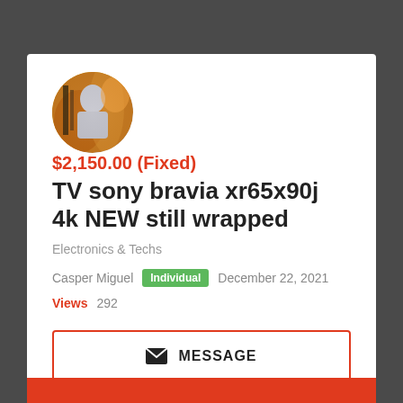[Figure (photo): Circular avatar photo showing a person in a restaurant or bar setting with warm orange/brown tones]
$2,150.00 (Fixed)
TV sony bravia xr65x90j 4k NEW still wrapped
Electronics & Techs
Casper Miguel  Individual  December 22, 2021  Views  292
✉ MESSAGE